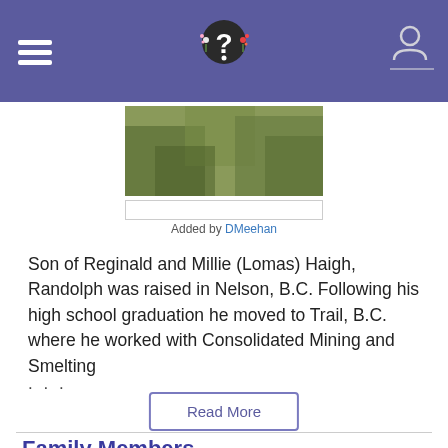Navigation header with logo
[Figure (photo): Gravestone or memorial photo partially visible, showing greenery/grass]
Added by DMeehan
Son of Reginald and Millie (Lomas) Haigh, Randolph was raised in Nelson, B.C. Following his high school graduation he moved to Trail, B.C. where he worked with Consolidated Mining and Smelting ...
Read More
Family Members
Spouse
Mary Morrison Haigh 1915–2003